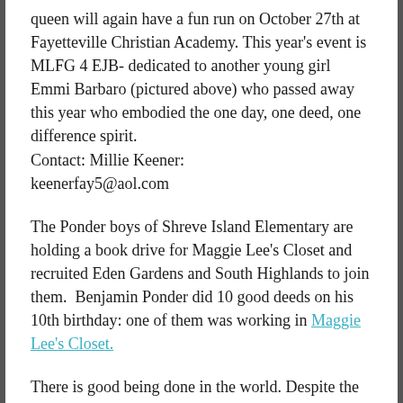queen will again have a fun run on October 27th at Fayetteville Christian Academy. This year's event is MLFG 4 EJB- dedicated to another young girl Emmi Barbaro (pictured above) who passed away this year who embodied the one day, one deed, one difference spirit.
Contact: Millie Keener:
keenerfay5@aol.com
The Ponder boys of Shreve Island Elementary are holding a book drive for Maggie Lee's Closet and recruited Eden Gardens and South Highlands to join them.  Benjamin Ponder did 10 good deeds on his 10th birthday: one of them was working in Maggie Lee's Closet.
There is good being done in the world. Despite the sensationalism of the bad, rest assured that this generation has those looking beyond themselves and their phones to make a difference.